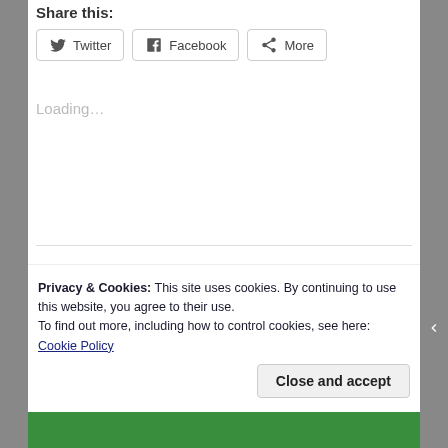Share this:
Twitter  Facebook  More
Loading...
Archives
Privacy & Cookies: This site uses cookies. By continuing to use this website, you agree to their use.
To find out more, including how to control cookies, see here: Cookie Policy
Close and accept